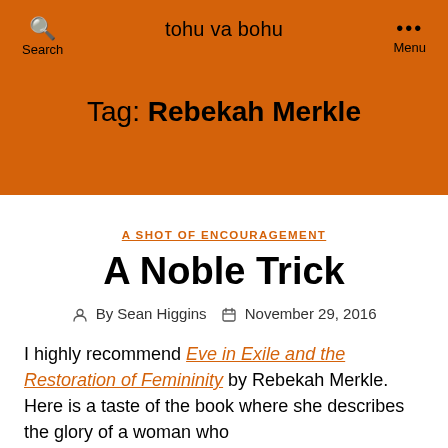tohu va bohu
Tag: Rebekah Merkle
A SHOT OF ENCOURAGEMENT
A Noble Trick
By Sean Higgins   November 29, 2016
I highly recommend Eve in Exile and the Restoration of Femininity by Rebekah Merkle. Here is a taste of the book where she describes the glory of a woman who